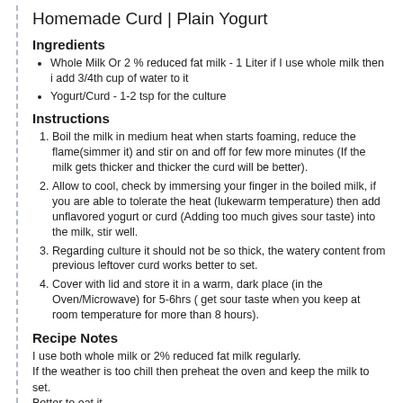Homemade Curd | Plain Yogurt
Ingredients
Whole Milk Or 2 % reduced fat milk - 1 Liter if I use whole milk then i add 3/4th cup of water to it
Yogurt/Curd - 1-2 tsp for the culture
Instructions
Boil the milk in medium heat when starts foaming, reduce the flame(simmer it) and stir on and off for few more minutes (If the milk gets thicker and thicker the curd will be better).
Allow to cool, check by immersing your finger in the boiled milk, if you are able to tolerate the heat (lukewarm temperature) then add unflavored yogurt or curd (Adding too much gives sour taste) into the milk, stir well.
Regarding culture it should not be so thick, the watery content from previous leftover curd works better to set.
Cover with lid and store it in a warm, dark place (in the Oven/Microwave) for 5-6hrs ( get sour taste when you keep at room temperature for more than 8 hours).
Recipe Notes
I use both whole milk or 2% reduced fat milk regularly.
If the weather is too chill then preheat the oven and keep the milk to set.
Better to eat it...